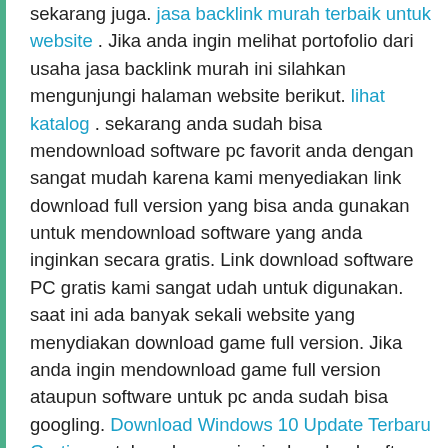sekarang juga. jasa backlink murah terbaik untuk website . Jika anda ingin melihat portofolio dari usaha jasa backlink murah ini silahkan mengunjungi halaman website berikut. lihat katalog . sekarang anda sudah bisa mendownload software pc favorit anda dengan sangat mudah karena kami menyediakan link download full version yang bisa anda gunakan untuk mendownload software yang anda inginkan secara gratis. Link download software PC gratis kami sangat udah untuk digunakan. saat ini ada banyak sekali website yang menydiakan download game full version. Jika anda ingin mendownload game full version ataupun software untuk pc anda sudah bisa googling. Download Windows 10 Update Terbaru Gratis . untuk anda yang ingin download software untu pc anda secara gratis